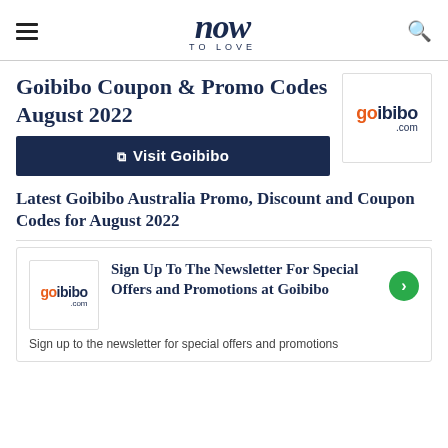now TO LOVE
Goibibo Coupon & Promo Codes August 2022
Visit Goibibo
[Figure (logo): Goibibo logo — 'go' in orange, 'ibibo' in dark navy, '.com' below]
Latest Goibibo Australia Promo, Discount and Coupon Codes for August 2022
[Figure (logo): Goibibo small logo in promo card]
Sign Up To The Newsletter For Special Offers and Promotions at Goibibo
Sign up to the newsletter for special offers and promotions